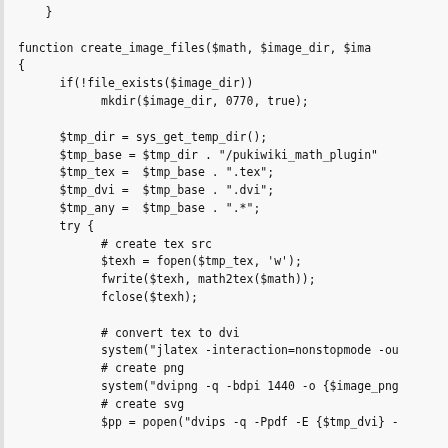Code snippet showing PHP function create_image_files with file operations, system calls to jlatex, dvipng, and dvips